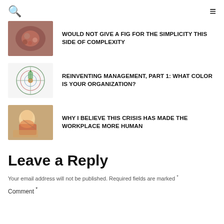🔍 ≡
WOULD NOT GIVE A FIG FOR THE SIMPLICITY THIS SIDE OF COMPLEXITY
REINVENTING MANAGEMENT, PART 1: WHAT COLOR IS YOUR ORGANIZATION?
WHY I BELIEVE THIS CRISIS HAS MADE THE WORKPLACE MORE HUMAN
Leave a Reply
Your email address will not be published. Required fields are marked *
Comment *